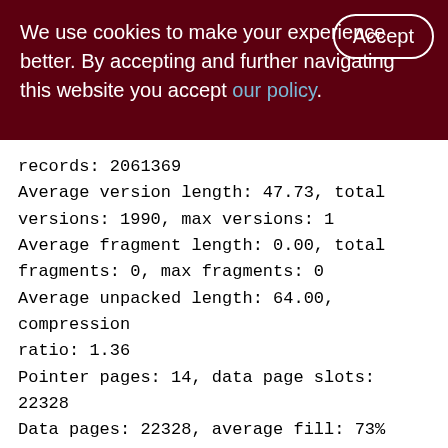We use cookies to make your experience better. By accepting and further navigating this website you accept our policy.
records: 2061369
Average version length: 47.73, total versions: 1990, max versions: 1
Average fragment length: 0.00, total fragments: 0, max fragments: 0
Average unpacked length: 64.00, compression ratio: 1.36
Pointer pages: 14, data page slots: 22328
Data pages: 22328, average fill: 73%
Primary pages: 22328, secondary pages: 0, swept pages: 13706
Empty pages: 5, full pages: 18900